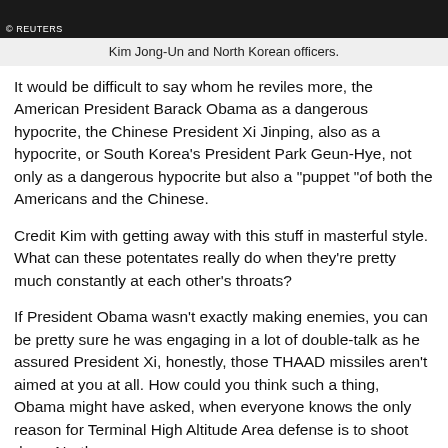[Figure (photo): A photograph of Kim Jong-Un and North Korean officers, shown from shoulders up against a dark background. Reuters watermark visible.]
Kim Jong-Un and North Korean officers.
It would be difficult to say whom he reviles more, the American President Barack Obama as a dangerous hypocrite, the Chinese President Xi Jinping, also as a hypocrite, or South Korea’s President Park Geun-Hye, not only as a dangerous hypocrite but also a “puppet “of both the Americans and the Chinese.
Credit Kim with getting away with this stuff in masterful style. What can these potentates really do when they’re pretty much constantly at each other’s throats?
If President Obama wasn’t exactly making enemies, you can be pretty sure he was engaging in a lot of double-talk as he assured President Xi, honestly, those THAAD missiles aren’t aimed at you at all. How could you think such a thing, Obama might have asked, when everyone knows the only reason for Terminal High Altitude Area defense is to shoot down North